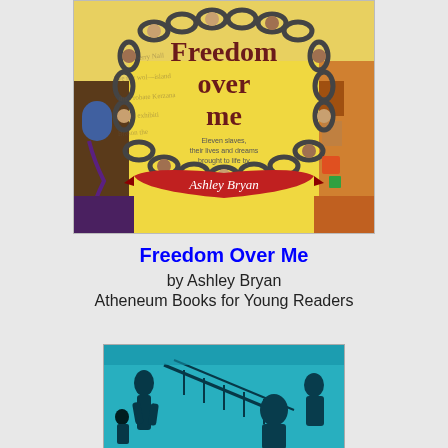[Figure (photo): Book cover of 'Freedom Over Me: Eleven slaves, their lives and dreams brought to life by Ashley Bryan' showing colorful artwork with chains forming a circle and figures, bold maroon title text, and a red banner with the author's name in script.]
Freedom Over Me
by Ashley Bryan
Atheneum Books for Young Readers
[Figure (photo): Partial book cover showing a teal/cyan tinted photograph of people, appearing to be a historical image.]